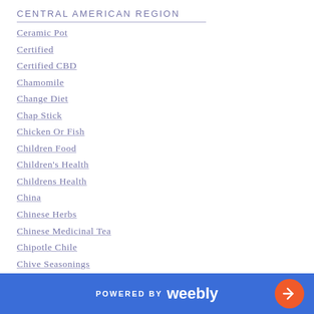CENTRAL AMERICAN REGION
Ceramic Pot
Certified
Certified CBD
Chamomile
Change Diet
Chap Stick
Chicken Or Fish
Children Food
Children's Health
Childrens Health
China
Chinese Herbs
Chinese Medicinal Tea
Chipotle Chile
Chive Seasonings
Chocolate
POWERED BY weebly